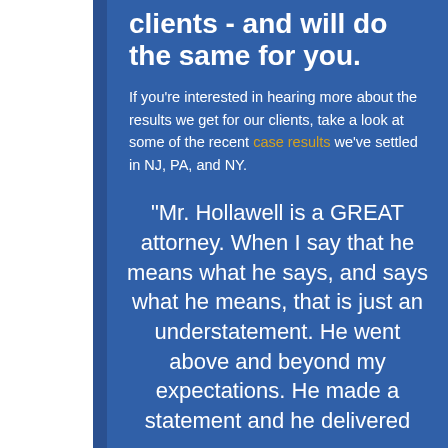clients - and will do the same for you.
If you're interested in hearing more about the results we get for our clients, take a look at some of the recent case results we've settled in NJ, PA, and NY.
"Mr. Hollawell is a GREAT attorney. When I say that he means what he says, and says what he means, that is just an understatement. He went above and beyond my expectations. He made a statement and he delivered